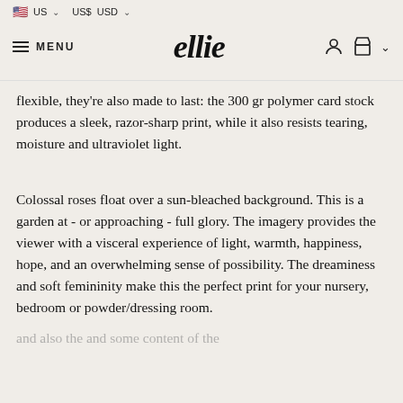US  US$ USD
ellie — MENU
flexible, they're also made to last: the 300 gr polymer card stock produces a sleek, razor-sharp print, while it also resists tearing, moisture and ultraviolet light.
Colossal roses float over a sun-bleached background. This is a garden at - or approaching - full glory. The imagery provides the viewer with a visceral experience of light, warmth, happiness, hope, and an overwhelming sense of possibility. The dreaminess and soft femininity make this the perfect print for your nursery, bedroom or powder/dressing room.